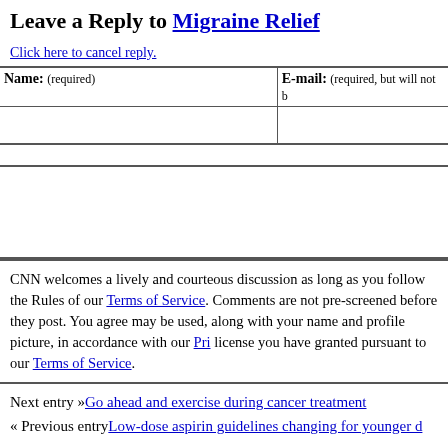Leave a Reply to Migraine Relief
Click here to cancel reply.
| Name: (required) | E-mail: (required, but will not be published) |
| --- | --- |
|  |  |
CNN welcomes a lively and courteous discussion as long as you follow the Rules of Conduct set forth in our Terms of Service. Comments are not pre-screened before they post. You agree that anything you post may be used, along with your name and profile picture, in accordance with our Privacy Policy and the license you have granted pursuant to our Terms of Service.
Next entry »Go ahead and exercise during cancer treatment
« Previous entryLow-dose aspirin guidelines changing for younger d…